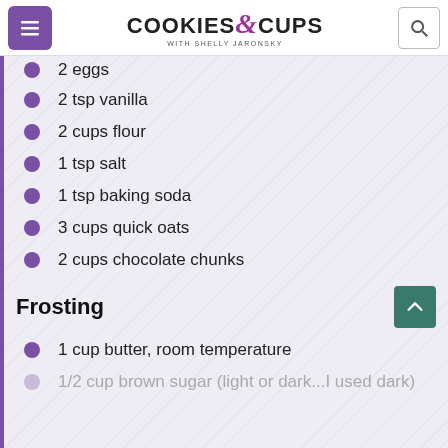COOKIES & CUPS with Shelly Jaronsky
2 eggs
2 tsp vanilla
2 cups flour
1 tsp salt
1 tsp baking soda
3 cups quick oats
2 cups chocolate chunks
Frosting
1 cup butter, room temperature
1/2 cup brown sugar (light or dark...I used dark)